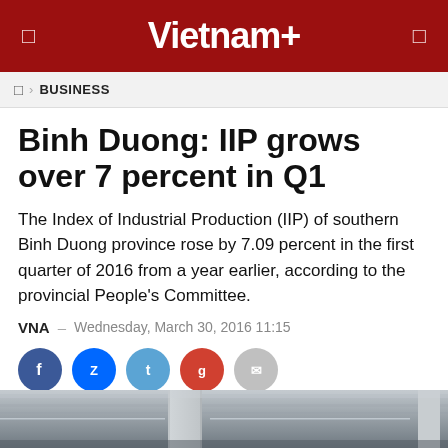Vietnam+
BUSINESS
Binh Duong: IIP grows over 7 percent in Q1
The Index of Industrial Production (IIP) of southern Binh Duong province rose by 7.09 percent in the first quarter of 2016 from a year earlier, according to the provincial People's Committee.
VNA  -  Wednesday, March 30, 2016 11:15
[Figure (other): Social media share buttons: Facebook, Zalo, Twitter, Google+, Mail]
[Figure (photo): Industrial interior photo showing ceiling with beams and lighting fixtures, in grayscale]